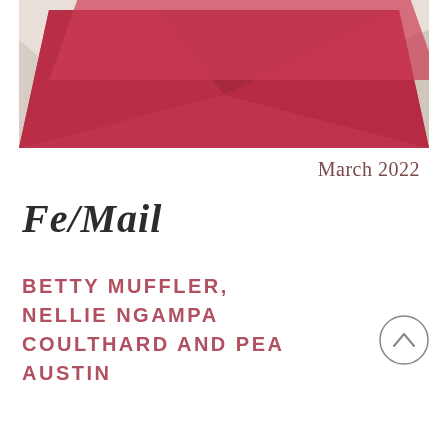[Figure (photo): Photo of multiple envelopes — one large red/crimson envelope overlapping smaller white/cream envelopes, arranged on a white surface, viewed from above.]
March 2022
Fe/Mail
BETTY MUFFLER, NELLIE NGAMPA COULTHARD AND PEA AUSTIN